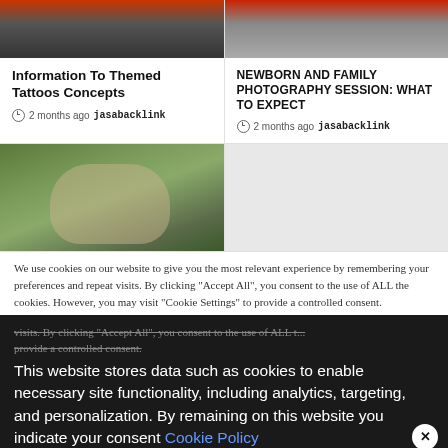[Figure (photo): Cropped photo showing top portion of a person with orange/red background]
Information To Themed Tattoos Concepts
2 months ago  jasabacklink
[Figure (photo): Cropped magazine or book cover with red/orange elements]
NEWBORN AND FAMILY PHOTOGRAPHY SESSION: WHAT TO EXPECT
2 months ago  jasabacklink
[Figure (photo): Family photo outdoors with green trees background, showing adults and children]
We use cookies on our website to give you the most relevant experience by remembering your preferences and repeat visits. By clicking "Accept All", you consent to the use of ALL t... provide a controlled consent.
This website stores data such as cookies to enable necessary site functionality, including analytics, targeting, and personalization. By remaining on this website you indicate your consent Cookie Policy